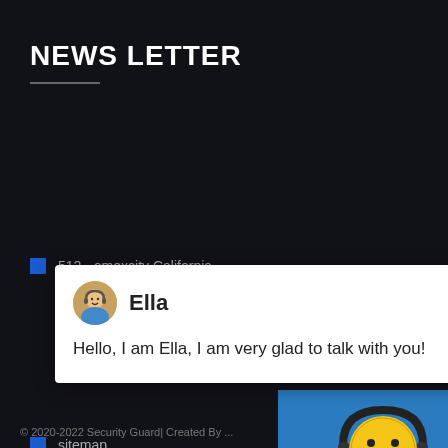NEWS LETTER
512 - omexcity California
[Figure (screenshot): Chat popup with avatar of Ella (headset customer service avatar), close button, name 'Ella', and message 'Hello, I am Ella, I am very glad to talk with you!']
sitemap
[Figure (illustration): Right-side widget showing smiley face with headphones on blue background, notification badge with '1', and 'Click me to c...' button]
Enquiry
cywaitml @gmail.com
© 2020-2022 Security Guard| Created By ...